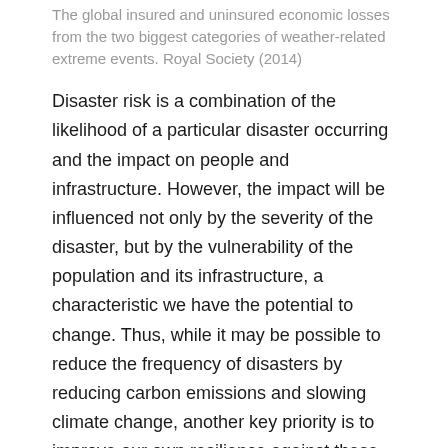The global insured and uninsured economic losses from the two biggest categories of weather-related extreme events. Royal Society (2014)
Disaster risk is a combination of the likelihood of a particular disaster occurring and the impact on people and infrastructure. However, the impact will be influenced not only by the severity of the disaster, but by the vulnerability of the population and its infrastructure, a characteristic we have the potential to change. Thus, while it may be possible to reduce the frequency of disasters by reducing carbon emissions and slowing climate change, another key priority is to improve our own resilience against these events. Rather than just surviving extreme weather, we must adapt and transform.
The risks posed by climate change may be